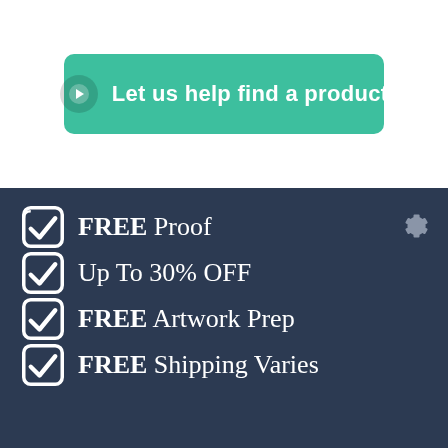[Figure (other): Green rounded button with arrow icon and text 'Let us help find a product']
FREE Proof
Up To 30% OFF
FREE Artwork Prep
FREE Shipping Varies